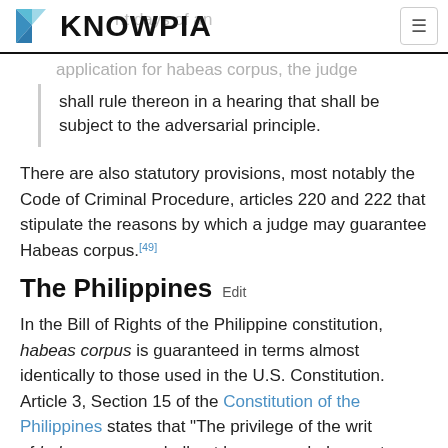KNOWPIA
shall rule thereon in a hearing that shall be subject to the adversarial principle.
There are also statutory provisions, most notably the Code of Criminal Procedure, articles 220 and 222 that stipulate the reasons by which a judge may guarantee Habeas corpus.[49]
The Philippines  Edit
In the Bill of Rights of the Philippine constitution, habeas corpus is guaranteed in terms almost identically to those used in the U.S. Constitution. Article 3, Section 15 of the Constitution of the Philippines states that "The privilege of the writ of habeas corpus shall not be suspended except in